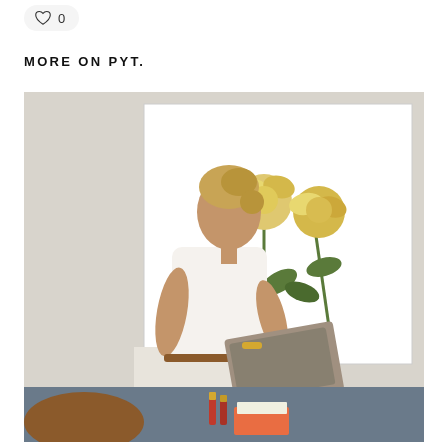[Figure (other): Heart/like icon with count 0 in a pill-shaped button]
MORE ON PYT.
[Figure (photo): A woman with blonde hair in a bun, wearing a white sleeveless top and cream wide-leg trousers with a brown belt, sitting and working on a laptop. She wears gold bracelets. Behind her is a large white-framed artwork featuring two yellow roses on long stems. In the foreground on a table are red lipsticks, a notebook, and a brown bag.]